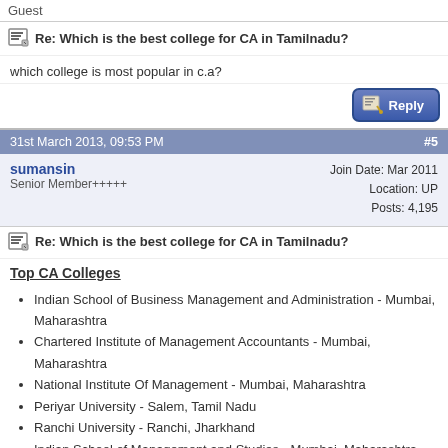Guest
Re: Which is the best college for CA in Tamilnadu?
which college is most popular in c.a?
31st March 2013, 09:53 PM   #5
sumansin
Senior Member+++++
Join Date: Mar 2011
Location: UP
Posts: 4,195
Re: Which is the best college for CA in Tamilnadu?
Top CA Colleges
Indian School of Business Management and Administration - Mumbai, Maharashtra
Chartered Institute of Management Accountants - Mumbai, Maharashtra
National Institute Of Management - Mumbai, Maharashtra
Periyar University - Salem, Tamil Nadu
Ranchi University - Ranchi, Jharkhand
Indian School of Management and Studies - Mumbai, Maharashtra
Indian Management Academy - Bhubaneswar, Orissa